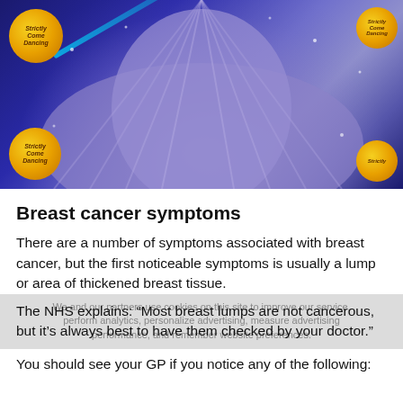[Figure (photo): Photo of a person in a purple/lavender pleated dress at a Strictly Come Dancing event backdrop with gold disco balls and blue sparkle background. Strictly Come Dancing logos visible on the gold balls.]
Breast cancer symptoms
There are a number of symptoms associated with breast cancer, but the first noticeable symptoms is usually a lump or area of thickened breast tissue.
The NHS explains: “Most breast lumps are not cancerous, but it’s always best to have them checked by your doctor.”
You should see your GP if you notice any of the following: